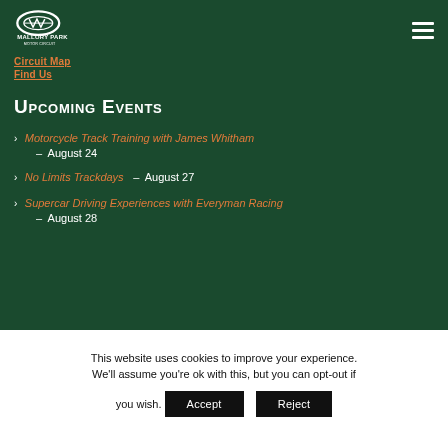Mallory Park Motor Circuit
Circuit Map
Find Us
Upcoming Events
Motorcycle Track Training with James Whitham – August 24
No Limits Trackdays – August 27
Supercar Driving Experiences with Everyman Racing – August 28
This website uses cookies to improve your experience. We'll assume you're ok with this, but you can opt-out if you wish.